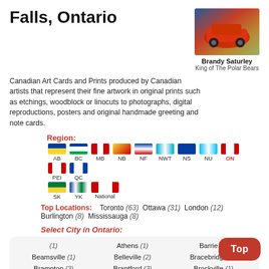Falls, Ontario
[Figure (photo): Photo of a red Jeep vehicle artwork by Brandy Saturley, titled King of The Polar Bears]
Brandy Saturley
King of The Polar Bears
Canadian Art Cards and Prints produced by Canadian artists that represent their fine artwork in original prints such as etchings, woodblock or linocuts to photographs, digital reproductions, posters and original handmade greeting and note cards.
Region:
[Figure (infographic): Canadian provincial and territorial flag icons with abbreviations: AB, BC, MB, NB, NF, NWT, NS, NU, ON (highlighted in red), PEI, QC, SK, YK, National]
Top Locations:    Toronto (63)  Ottawa (31)  London (12)  Burlington (8)  Mississauga (8)
Select City in Ontario:
| (1) | Athens (1) | Barrie (2) |
| Beamsville (1) | Belleville (2) | Bracebridge (2) |
| Brampton (3) | Brantford (3) | Brockville (1) |
| Brownsville (1) | Brussels (1) | Burgessville (1) |
| Burlington (8) | Chalk River (1) | Chatsworth (1) |